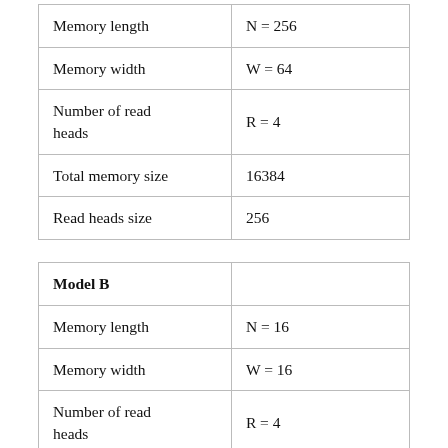| Memory length | N = 256 |
| Memory width | W = 64 |
| Number of read heads | R = 4 |
| Total memory size | 16384 |
| Read heads size | 256 |
| Model B |  |
| Memory length | N = 16 |
| Memory width | W = 16 |
| Number of read heads | R = 4 |